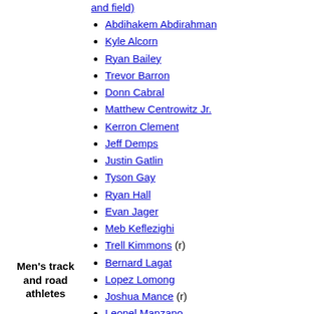and field)
Abdihakem Abdirahman
Kyle Alcorn
Ryan Bailey
Trevor Barron
Donn Cabral
Matthew Centrowitz Jr.
Kerron Clement
Jeff Demps
Justin Gatlin
Tyson Gay
Ryan Hall
Evan Jager
Meb Keflezighi
Trell Kimmons (r)
Bernard Lagat
Lopez Lomong
Joshua Mance (r)
Leonel Manzano
Tony McQuay
Aries Merritt
LaShawn Merritt
Manteo Mitchell (r)
Maurice Mitchell
Bryshon Nellum
Men's track and road athletes